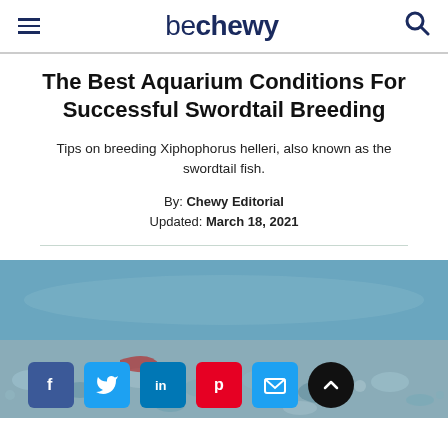be chewy
The Best Aquarium Conditions For Successful Swordtail Breeding
Tips on breeding Xiphophorus helleri, also known as the swordtail fish.
By: Chewy Editorial
Updated: March 18, 2021
[Figure (photo): Underwater aquarium photo with blue/grey gravel substrate, used as article hero image. Social sharing buttons (Facebook, Twitter, LinkedIn, Pinterest, Email, scroll-up) overlaid at the bottom.]